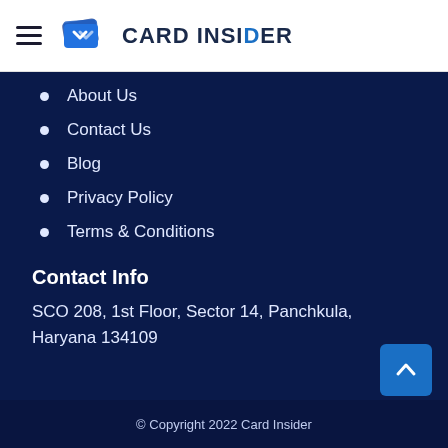CARD INSIDER
About Us
Contact Us
Blog
Privacy Policy
Terms & Conditions
Contact Info
SCO 208, 1st Floor, Sector 14, Panchkula, Haryana 134109
© Copyright 2022 Card Insider